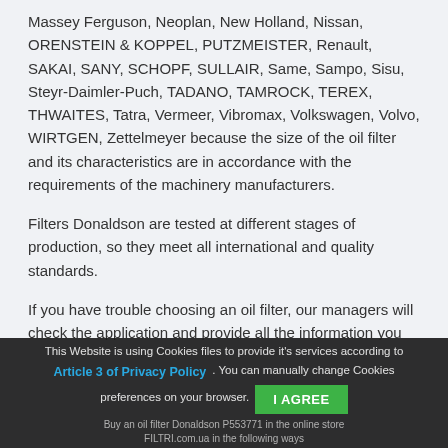Massey Ferguson, Neoplan, New Holland, Nissan, ORENSTEIN & KOPPEL, PUTZMEISTER, Renault, SAKAI, SANY, SCHOPF, SULLAIR, Same, Sampo, Sisu, Steyr-Daimler-Puch, TADANO, TAMROCK, TEREX, THWAITES, Tatra, Vermeer, Vibromax, Volkswagen, Volvo, WIRTGEN, Zettelmeyer because the size of the oil filter and its characteristics are in accordance with the requirements of the machinery manufacturers.
Filters Donaldson are tested at different stages of production, so they meet all international and quality standards.
If you have trouble choosing an oil filter, our managers will check the application and provide all the information you need (regarding characteristics...
This Website is using Cookies files to provide it's services according to Article 3 of Privacy Policy . You can manually change Cookies preferences on your browser. I AGREE